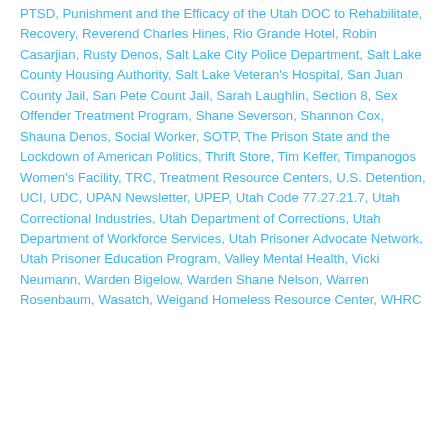PTSD, Punishment and the Efficacy of the Utah DOC to Rehabilitate, Recovery, Reverend Charles Hines, Rio Grande Hotel, Robin Casarjian, Rusty Denos, Salt Lake City Police Department, Salt Lake County Housing Authority, Salt Lake Veteran's Hospital, San Juan County Jail, San Pete Count Jail, Sarah Laughlin, Section 8, Sex Offender Treatment Program, Shane Severson, Shannon Cox, Shauna Denos, Social Worker, SOTP, The Prison State and the Lockdown of American Politics, Thrift Store, Tim Keffer, Timpanogos Women's Facility, TRC, Treatment Resource Centers, U.S. Detention, UCI, UDC, UPAN Newsletter, UPEP, Utah Code 77.27.21.7, Utah Correctional Industries, Utah Department of Corrections, Utah Department of Workforce Services, Utah Prisoner Advocate Network, Utah Prisoner Education Program, Valley Mental Health, Vicki Neumann, Warden Bigelow, Warden Shane Nelson, Warren Rosenbaum, Wasatch, Weigand Homeless Resource Center, WHRC